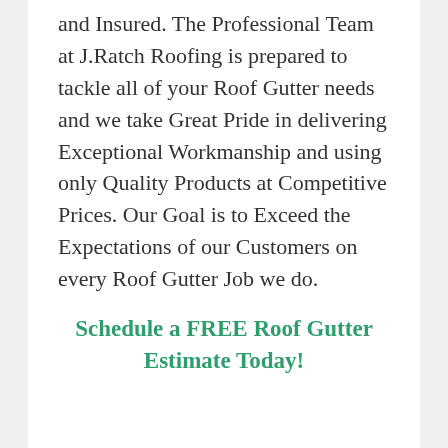and Insured. The Professional Team at J.Ratch Roofing is prepared to tackle all of your Roof Gutter needs and we take Great Pride in delivering Exceptional Workmanship and using only Quality Products at Competitive Prices. Our Goal is to Exceed the Expectations of our Customers on every Roof Gutter Job we do.
Schedule a FREE Roof Gutter Estimate Today!